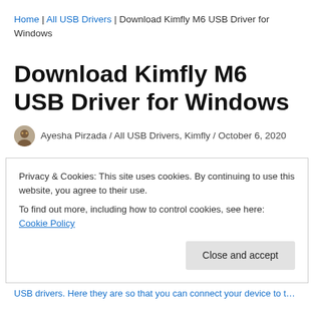Home | All USB Drivers | Download Kimfly M6 USB Driver for Windows
Download Kimfly M6 USB Driver for Windows
Ayesha Pirzada / All USB Drivers, Kimfly / October 6, 2020
Privacy & Cookies: This site uses cookies. By continuing to use this website, you agree to their use.
To find out more, including how to control cookies, see here: Cookie Policy
Close and accept